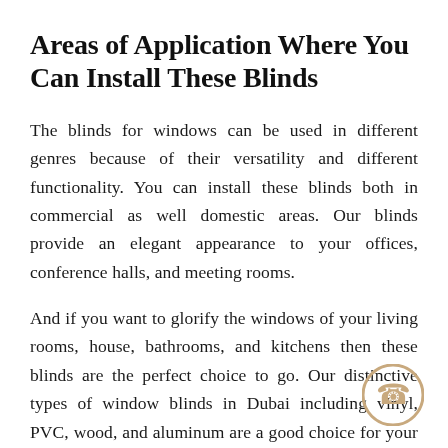Areas of Application Where You Can Install These Blinds
The blinds for windows can be used in different genres because of their versatility and different functionality. You can install these blinds both in commercial as well domestic areas. Our blinds provide an elegant appearance to your offices, conference halls, and meeting rooms.
And if you want to glorify the windows of your living rooms, house, bathrooms, and kitchens then these blinds are the perfect choice to go. Our distinctive types of window blinds in Dubai including vinyl, PVC, wood, and aluminum are a good choice for your commercial as well residential